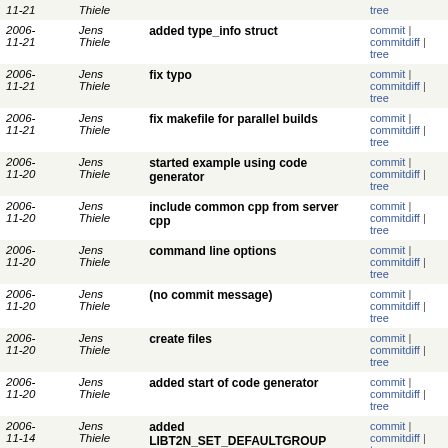| Date | Author | Message | Links |
| --- | --- | --- | --- |
| 2006-11-21 | Jens Thiele |  | commit | commitdiff | tree |
| 2006-11-21 | Jens Thiele | added type_info struct | commit | commitdiff | tree |
| 2006-11-21 | Jens Thiele | fix typo | commit | commitdiff | tree |
| 2006-11-21 | Jens Thiele | fix makefile for parallel builds | commit | commitdiff | tree |
| 2006-11-20 | Jens Thiele | started example using code generator | commit | commitdiff | tree |
| 2006-11-20 | Jens Thiele | include common cpp from server cpp | commit | commitdiff | tree |
| 2006-11-20 | Jens Thiele | command line options | commit | commitdiff | tree |
| 2006-11-20 | Jens Thiele | (no commit message) | commit | commitdiff | tree |
| 2006-11-20 | Jens Thiele | create files | commit | commitdiff | tree |
| 2006-11-20 | Jens Thiele | added start of code generator | commit | commitdiff | tree |
| 2006-11-14 | Jens Thiele | added LIBT2N_SET_DEFAULTGROUP | commit | commitdiff | tree |
| 2006-11-14 | Jens Thiele | test to pass group as attribute to gccxml | commit | commitdiff | tree |
| 2006-11-14 | Jens Thiele | fix typo | commit | commitdiff | tree |
| 2006-11-14 | Jens Thiele | added a first "minimal" example - splitted code to | commit | commitdiff | tree |